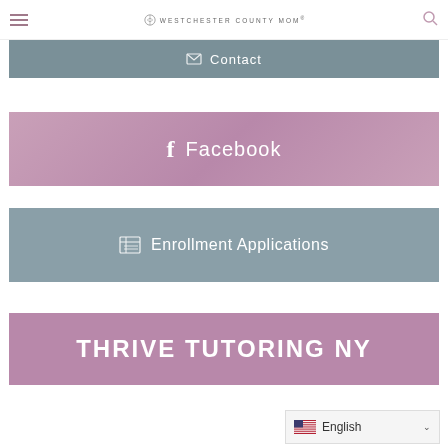WESTCHESTER COUNTY MOM
Contact
Facebook
Enrollment Applications
THRIVE TUTORING NY
English